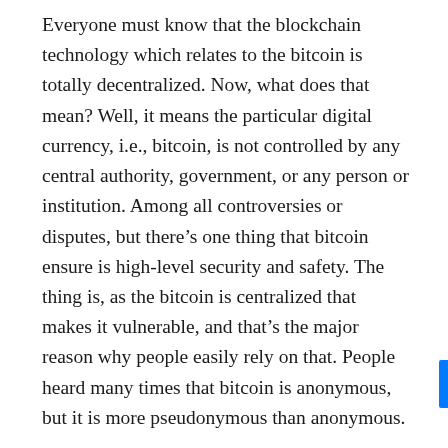Everyone must know that the blockchain technology which relates to the bitcoin is totally decentralized. Now, what does that mean? Well, it means the particular digital currency, i.e., bitcoin, is not controlled by any central authority, government, or any person or institution. Among all controversies or disputes, but there's one thing that bitcoin ensure is high-level security and safety. The thing is, as the bitcoin is centralized that makes it vulnerable, and that's the major reason why people easily rely on that. People heard many times that bitcoin is anonymous, but it is more pseudonymous than anonymous.
2. Easy to access
Another major reason that proves why it's the right time to make a bitcoin investment is it is very easy to make a deal with the cryptocurrency. There are plenty of apps or